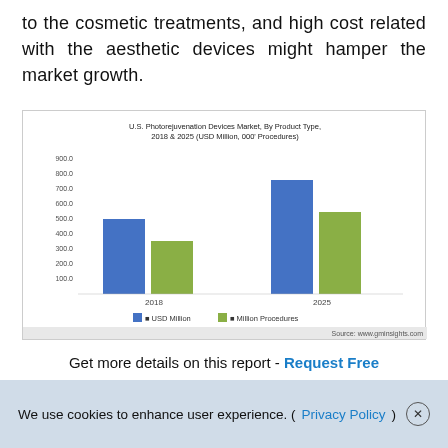to the cosmetic treatments, and high cost related with the aesthetic devices might hamper the market growth.
[Figure (grouped-bar-chart): U.S. Photorejuvenation Devices Market, By Product Type, 2018 & 2025 (USD Million, 000' Procedures)]
Get more details on this report - Request Free Sample PDF
We use cookies to enhance user experience. (Privacy Policy)  X